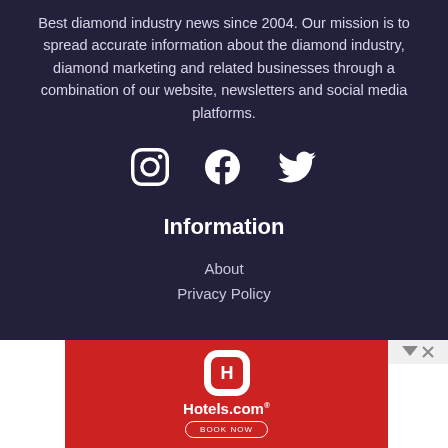Best diamond industry news since 2004. Our mission is to spread accurate information about the diamond industry, diamond marketing and related businesses through a combination of our website, newsletters and social media platforms.
[Figure (illustration): Three social media icons: Instagram, Facebook, Twitter (white on dark background)]
Information
About
Privacy Policy
[Figure (infographic): Hotels.com advertisement banner with red background, white Hotels.com logo, and Book Now button]